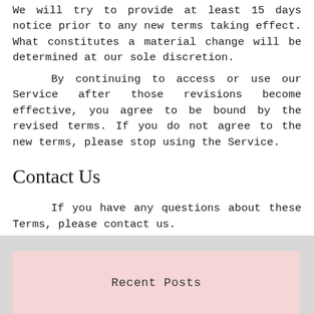We will try to provide at least 15 days notice prior to any new terms taking effect. What constitutes a material change will be determined at our sole discretion.
By continuing to access or use our Service after those revisions become effective, you agree to be bound by the revised terms. If you do not agree to the new terms, please stop using the Service.
Contact Us
If you have any questions about these Terms, please contact us.
Recent Posts